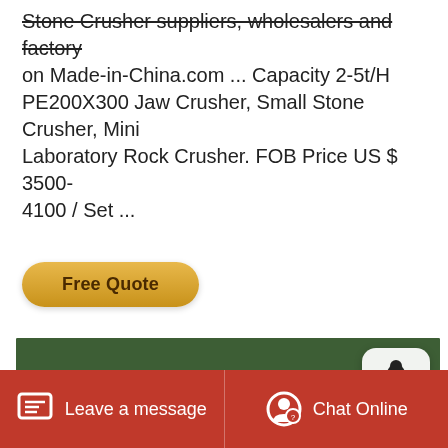Stone Crusher suppliers, wholesalers and factory on Made-in-China.com ... Capacity 2-5t/H PE200X300 Jaw Crusher, Small Stone Crusher, Mini Laboratory Rock Crusher. FOB Price US $ 3500-4100 / Set ...
[Figure (other): Button labeled 'Free Quote' with golden gradient rounded rectangle style]
[Figure (photo): Aerial/outdoor photo of industrial stone crusher machinery with conveyor belts, set against a backdrop of green trees and hillside. A white rocket icon badge appears in the upper right corner of the photo.]
Leave a message
Chat Online